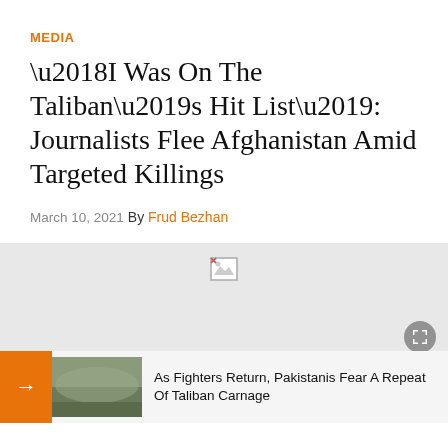MEDIA
‘I Was On The Taliban’s Hit List’: Journalists Flee Afghanistan Amid Targeted Killings
March 10, 2021
By Frud Bezhan
[Figure (other): Broken image placeholder in a light gray media container with an expand/fullscreen button, and a slideshow navigation bar at the bottom showing a crowd photo thumbnail with caption ‘As Fighters Return, Pakistanis Fear A Repeat Of Taliban Carnage’]
As Fighters Return, Pakistanis Fear A Repeat Of Taliban Carnage